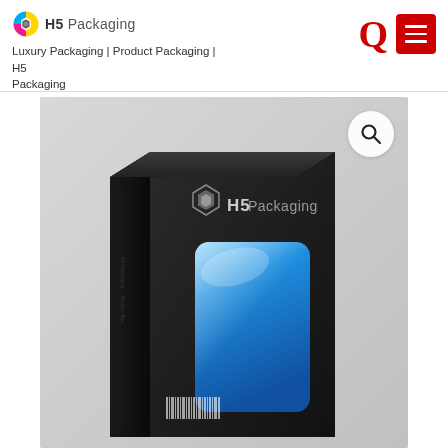H5 Packaging — Luxury Packaging | Product Packaging | H5 Packaging
[Figure (photo): A sleek black product box with H5 Packaging logo and a blue glossy window cutout on the front face, shown in a 3D perspective on a light grey background.]